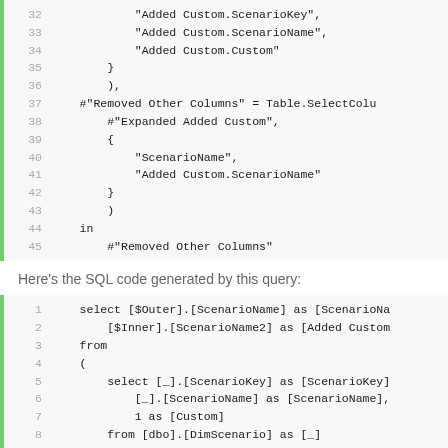[Figure (screenshot): Code block lines 32-45 showing M/Power Query code with indented string fields and table operations]
Here’s the SQL code generated by this query:
[Figure (screenshot): Code block lines 1-11 showing SQL SELECT with joins referencing ScenarioName, ScenarioKey, DimScenario]